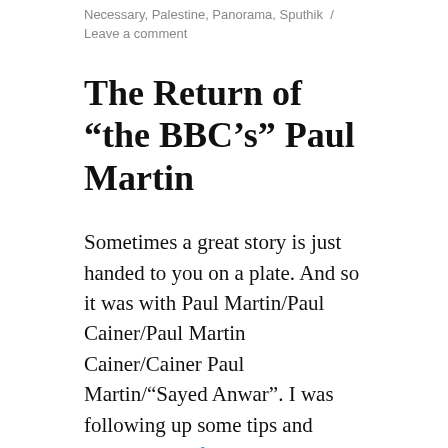Necessary, Palestine, Panorama, Sputhik / Leave a comment
The Return of “the BBC’s” Paul Martin
Sometimes a great story is just handed to you on a plate. And so it was with Paul Martin/Paul Cainer/Paul Martin Cainer/Cainer Paul Martin/“Sayed Anwar”. I was following up some tips and unused leads for my story about him from last month, when Martin emailed me demanding I do an interview with him (“I hope you have the guts”).
At the risk of making you re-read the same sad